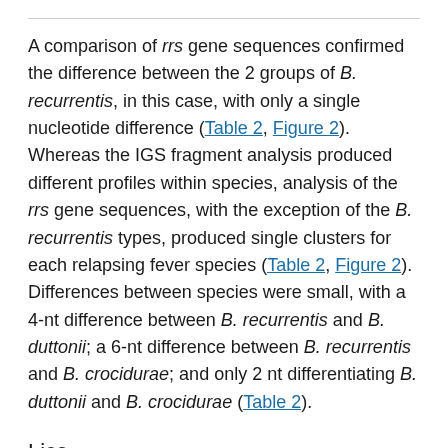A comparison of rrs gene sequences confirmed the difference between the 2 groups of B. recurrentis, in this case, with only a single nucleotide difference (Table 2, Figure 2). Whereas the IGS fragment analysis produced different profiles within species, analysis of the rrs gene sequences, with the exception of the B. recurrentis types, produced single clusters for each relapsing fever species (Table 2, Figure 2). Differences between species were small, with a 4-nt difference between B. recurrentis and B. duttonii; a 6-nt difference between B. recurrentis and B. crocidurae; and only 2 nt differentiating B. duttonii and B. crocidurae (Table 2).
Lice
Clothing lice collected from 21 febrile, spirochetemic